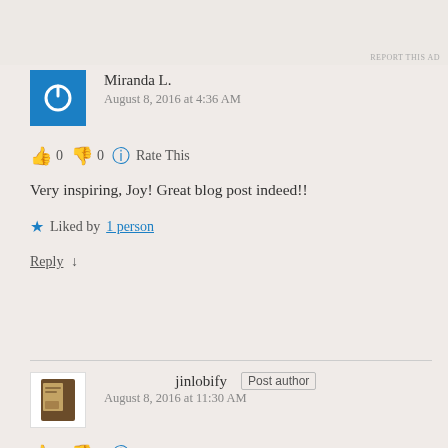[Figure (screenshot): Ad image showing device screens, partially cropped at top]
REPORT THIS AD
[Figure (photo): Blue square avatar with white power/circle icon for Miranda L.]
Miranda L.
August 8, 2016 at 4:36 AM
👍 0 👎 0 ℹ Rate This
Very inspiring, Joy! Great blog post indeed!!
★ Liked by 1 person
Reply ↓
[Figure (photo): White square avatar with book image for jinlobify]
jinlobify Post author
August 8, 2016 at 11:30 AM
👍 0 👎 0 ℹ Rate This